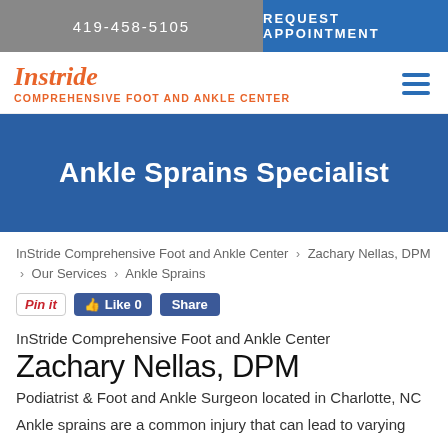419-458-5105 | REQUEST APPOINTMENT
Instride
COMPREHENSIVE FOOT AND ANKLE CENTER
Ankle Sprains Specialist
InStride Comprehensive Foot and Ankle Center > Zachary Nellas, DPM > Our Services > Ankle Sprains
InStride Comprehensive Foot and Ankle Center
Zachary Nellas, DPM
Podiatrist & Foot and Ankle Surgeon located in Charlotte, NC
Ankle sprains are a common injury that can lead to varying